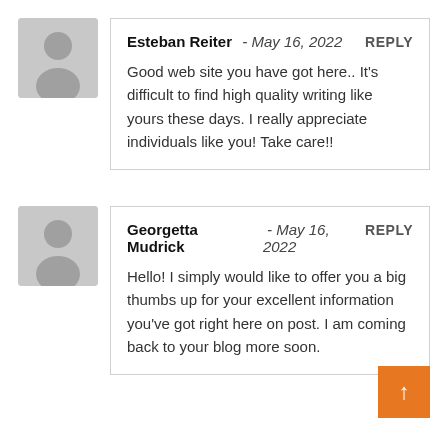Esteban Reiter - May 16, 2022 REPLY
Good web site you have got here.. It's difficult to find high quality writing like yours these days. I really appreciate individuals like you! Take care!!
Georgetta Mudrick - May 16, 2022 REPLY
Hello! I simply would like to offer you a big thumbs up for your excellent information you've got right here on post. I am coming back to your blog more soon.